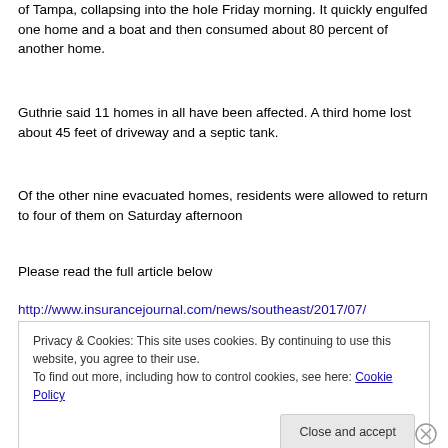of Tampa, collapsing into the hole Friday morning. It quickly engulfed one home and a boat and then consumed about 80 percent of another home.
Guthrie said 11 homes in all have been affected. A third home lost about 45 feet of driveway and a septic tank.
Of the other nine evacuated homes, residents were allowed to return to four of them on Saturday afternoon
Please read the full article below
http://www.insurancejournal.com/news/southeast/2017/07/
Privacy & Cookies: This site uses cookies. By continuing to use this website, you agree to their use.
To find out more, including how to control cookies, see here: Cookie Policy
Close and accept